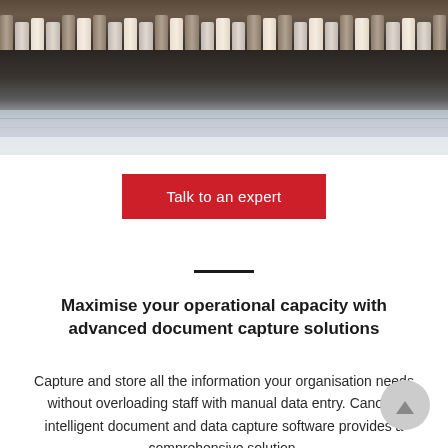[Figure (photo): Close-up photograph of hanging file folder tabs in a filing cabinet, showing a row of coloured folder tabs at the top with folder bodies below, transitioning to a light grey/white area at the bottom.]
Talk to an expert
Maximise your operational capacity with advanced document capture solutions
Capture and store all the information your organisation needs without overloading staff with manual data entry. Canon's intelligent document and data capture software provides a comprehensive solution.